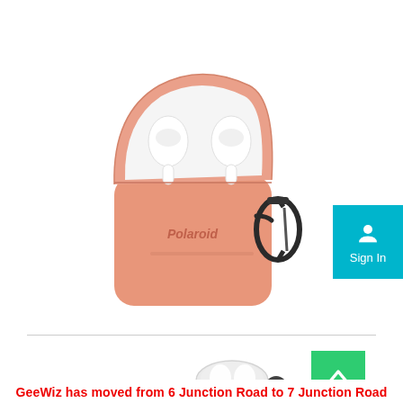[Figure (photo): Polaroid AirPods case in pink/salmon color with black carabiner clip attached, lid open showing white AirPods inside, on white background.]
[Figure (photo): Partial view of a transparent/clear AirPods case at the bottom of the page, partially visible.]
[Figure (screenshot): Teal/cyan Sign In button with person icon in top-right area.]
[Figure (screenshot): Green scroll-to-top button with upward arrow chevron.]
GeeWiz has moved from 6 Junction Road to 7 Junction Road